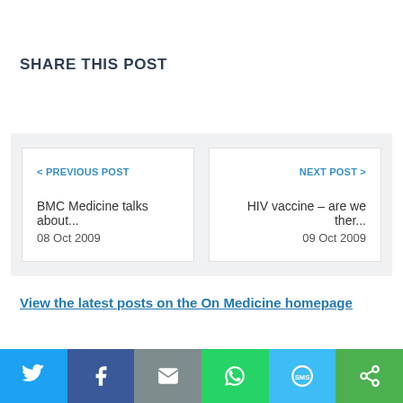SHARE THIS POST
< PREVIOUS POST
BMC Medicine talks about...
08 Oct 2009
NEXT POST >
HIV vaccine – are we ther...
09 Oct 2009
View the latest posts on the On Medicine homepage
[Figure (infographic): Social sharing buttons bar: Twitter (blue), Facebook (dark blue), Email (grey), WhatsApp (green), SMS (light blue), Other (green)]